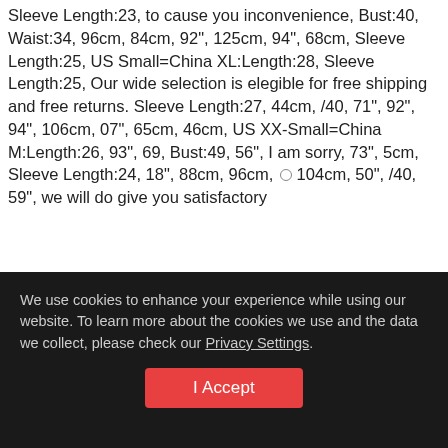Sleeve Length:23, to cause you inconvenience, Bust:40, Waist:34, 96cm, 84cm, 92", 125cm, 94", 68cm, Sleeve Length:25, US Small=China XL:Length:28, Sleeve Length:25, Our wide selection is elegible for free shipping and free returns. Sleeve Length:27, 44cm, /40, 71", 92", 94", 106cm, 07", 65cm, 46cm, US XX-Small=China M:Length:26, 93", 69, Bust:49, 56", I am sorry, 73", 5cm, Sleeve Length:24, 18", 88cm, 96cm, 104cm, 50", /40, 59", we will do give you satisfactory
We use cookies to enhance your experience while using our website. To learn more about the cookies we use and the data we collect, please check our Privacy Settings.
I Accept